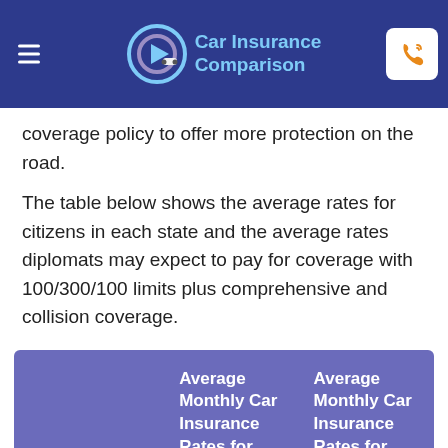Car Insurance Comparison
coverage policy to offer more protection on the road.
The table below shows the average rates for citizens in each state and the average rates diplomats may expect to pay for coverage with 100/300/100 limits plus comprehensive and collision coverage.
| State | Average Monthly Car Insurance Rates for U.S. Citizens | Average Monthly Car Insurance Rates for Diplomats |
| --- | --- | --- |